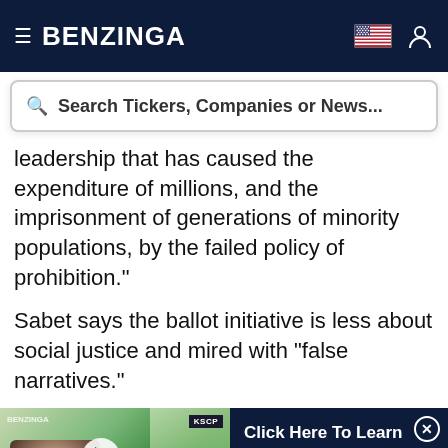BENZINGA
Search Tickers, Companies or News...
leadership that has caused the expenditure of millions, and the imprisonment of generations of minority populations, by the failed policy of prohibition."
Sabet says the ballot initiative is less about social justice and mired with "false narratives."
[Figure (screenshot): Video thumbnail showing a person speaking, with KNIGHTSCOPE'S ROBOT ROADSHOW caption bar at the bottom; adjacent dark navy ad panel reading 'Click Here To Learn More About Autonomous Security Robots' with a close button]
result in any tangible benefit for disadvantaged communities," Sabet said.